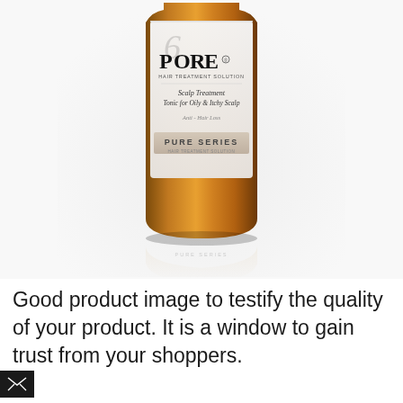[Figure (photo): A brown glass bottle of POREO Hair Treatment Solution - Pure Series Scalp Treatment Tonic for Oily & Itchy Scalp, Anti-Hair Loss. The bottle has a white label with elegant typography on a white/grey background with a reflection below.]
Good product image to testify the quality of your product. It is a window to gain trust from your shoppers.